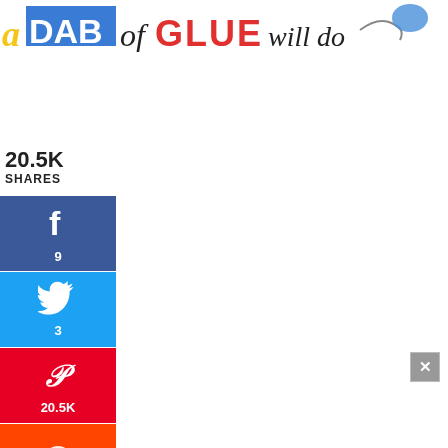[Figure (logo): A Dab of Glue Will Do blog logo/banner with colorful stylized text]
20.5K
SHARES
[Figure (infographic): Facebook share button with f icon and count 9]
[Figure (infographic): Twitter share button with bird icon and count 3]
[Figure (infographic): Pinterest share button with P icon and count 20.5K]
[Figure (infographic): Reddit share button with Reddit alien icon]
mer Syllable Sort comes with three pages of summer themed re cards that students will sort based on the number of syllables in each word. For this particular activity students will sort two, three, and four syllable words. It can easily complete thi activity with a pocket chart, on the floor, or at the table, depending on what works best with your classroom setup and